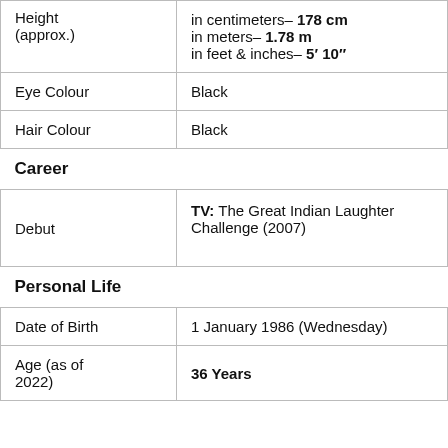| Height (approx.) | in centimeters– 178 cm
in meters– 1.78 m
in feet & inches– 5′ 10″ |
| Eye Colour | Black |
| Hair Colour | Black |
| Career |  |
| Debut | TV: The Great Indian Laughter Challenge (2007) |
| Personal Life |  |
| Date of Birth | 1 January 1986 (Wednesday) |
| Age (as of 2022) | 36 Years |